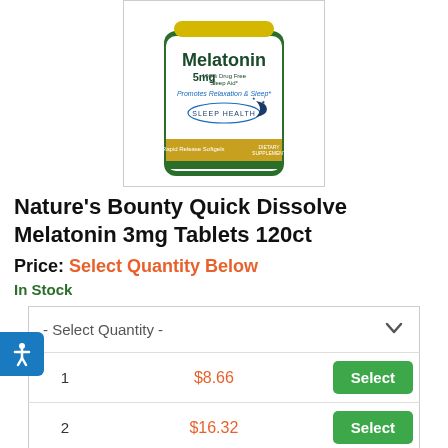[Figure (photo): Nature's Bounty Melatonin 5mg 100% Drug Free Sleep Aid bottle label showing 'Promotes Relaxation & Sleep', 'SLEEP HEALTH', '90 Rapid Release Softgels', 'DIETARY SUPPLEMENT']
Nature's Bounty Quick Dissolve Melatonin 3mg Tablets 120ct
Price: Select Quantity Below
In Stock
| - Select Quantity - |  |  |
| --- | --- | --- |
| 1 | $8.66 | Select |
| 2 | $16.32 | Select |
| 3 | $23.98 | Select |